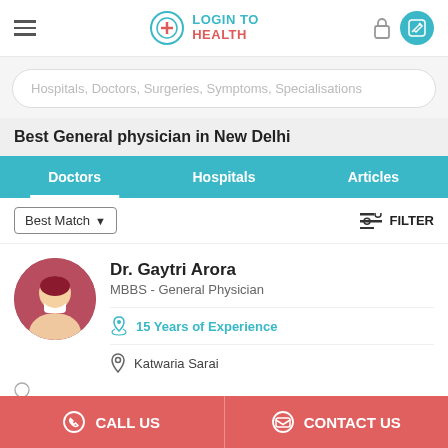LOGIN TO HEALTH
Hospitals, Doctors, Surgeries, Symptoms, Specialisations
Best General physician in New Delhi
Doctors | Hospitals | Articles
Best Match ▾  FILTER
Dr. Gaytri Arora
MBBS - General Physician
15 Years of Experience
Katwaria Sarai
CALL US | CONTACT US